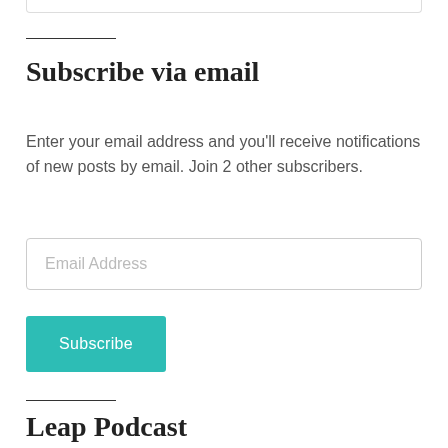Subscribe via email
Enter your email address and you'll receive notifications of new posts by email. Join 2 other subscribers.
[Figure (other): Email address input field with placeholder text 'Email Address']
[Figure (other): Teal Subscribe button]
Leap Podcast